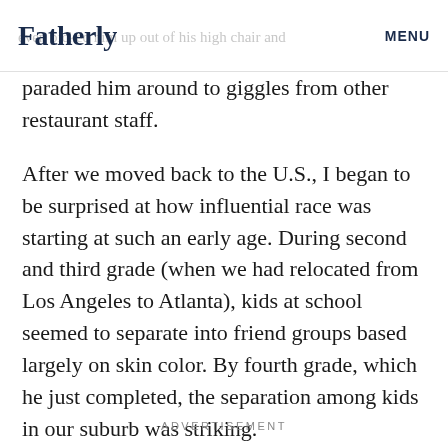Fatherly  MENU
though we were some sort of spectacle. One waitress even picked him up out of his high chair and paraded him around to giggles from other restaurant staff.
After we moved back to the U.S., I began to be surprised at how influential race was starting at such an early age. During second and third grade (when we had relocated from Los Angeles to Atlanta), kids at school seemed to separate into friend groups based largely on skin color. By fourth grade, which he just completed, the separation among kids in our suburb was striking.
ADVERTISEMENT